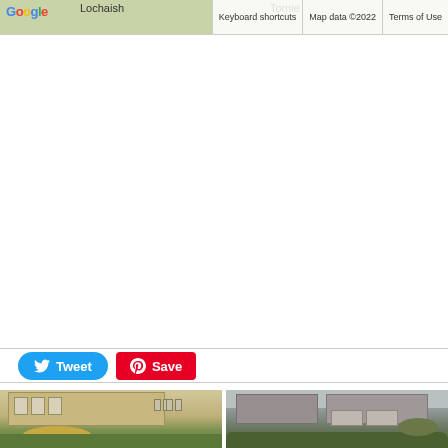[Figure (screenshot): Google Maps screenshot showing area near Lochaish and Tornie with keyboard shortcuts and map data attribution bar]
[Figure (other): Twitter Tweet button (blue rounded) and Pinterest Save button (red)]
[Figure (photo): Two property photos side by side: left shows a tan stone building with arched bridge and green hedges; right shows houses with parked cars and clipped hedges]